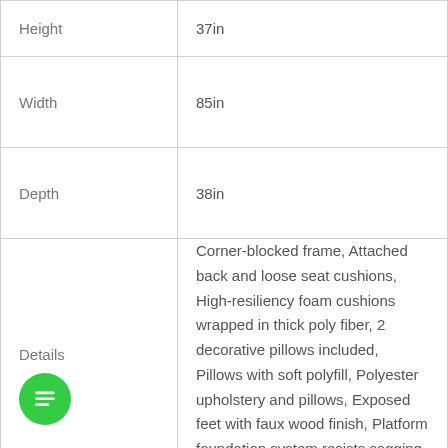|  |  |
| --- | --- |
| Height | 37in |
| Width | 85in |
| Depth | 38in |
| Details | Corner-blocked frame, Attached back and loose seat cushions, High-resiliency foam cushions wrapped in thick poly fiber, 2 decorative pillows included, Pillows with soft polyfill, Polyester upholstery and pillows, Exposed feet with faux wood finish, Platform foundation system resists sagging 3x better than spring system after 20,000 testing cycles by providing more even support, Smooth platform |